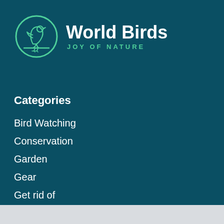[Figure (logo): World Birds logo: green circle outline with a stylized bird silhouette inside, next to bold white text 'World Birds' and green subtitle 'JOY OF NATURE']
Categories
Bird Watching
Conservation
Garden
Gear
Get rid of
News
Optics
Pet Birds
Reviews
Symbolism